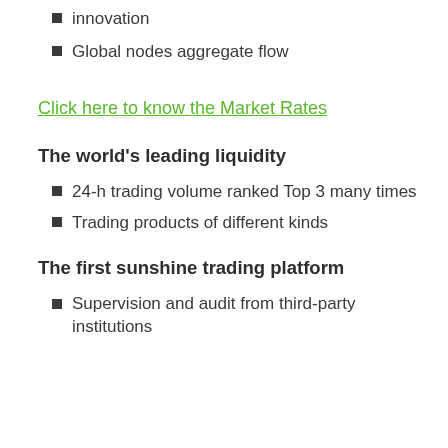innovation
Global nodes aggregate flow
Click here to know the Market Rates
The world's leading liquidity
24-h trading volume ranked Top 3 many times
Trading products of different kinds
The first sunshine trading platform
Supervision and audit from third-party institutions